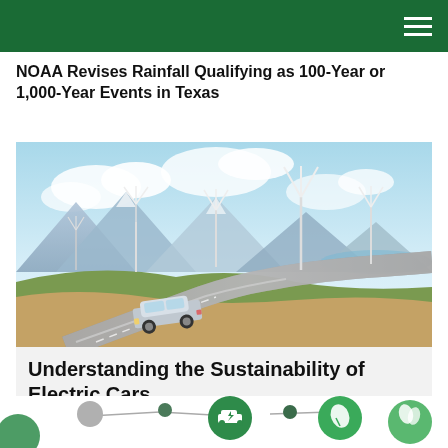NOAA Revises Rainfall Qualifying as 100-Year or 1,000-Year Events in Texas
[Figure (photo): Electric car driving on a winding road through a scenic landscape with wind turbines on hills and mountains in the background under a partly cloudy sky.]
Understanding the Sustainability of Electric Cars
[Figure (infographic): Partial infographic showing green circular icons with environmental symbols (car, leaf/sustainability, plant) connected by nodes on a white background, representing sustainability concepts.]